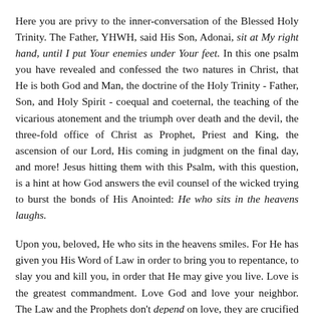Here you are privy to the inner-conversation of the Blessed Holy Trinity. The Father, YHWH, said His Son, Adonai, sit at My right hand, until I put Your enemies under Your feet. In this one psalm you have revealed and confessed the two natures in Christ, that He is both God and Man, the doctrine of the Holy Trinity - Father, Son, and Holy Spirit - coequal and coeternal, the teaching of the vicarious atonement and the triumph over death and the devil, the three-fold office of Christ as Prophet, Priest and King, the ascension of our Lord, His coming in judgment on the final day, and more! Jesus hitting them with this Psalm, with this question, is a hint at how God answers the evil counsel of the wicked trying to burst the bonds of His Anointed: He who sits in the heavens laughs.
Upon you, beloved, He who sits in the heavens smiles. For He has given you His Word of Law in order to bring you to repentance, to slay you and kill you, in order that He may give you live. Love is the greatest commandment. Love God and love your neighbor. The Law and the Prophets don't depend on love, they are crucified on love. And Love Incarnate, Jesus the Christ, David's Son and David's Lord, is crucified, in love, for you. This is the point of all of Holy Scripture and